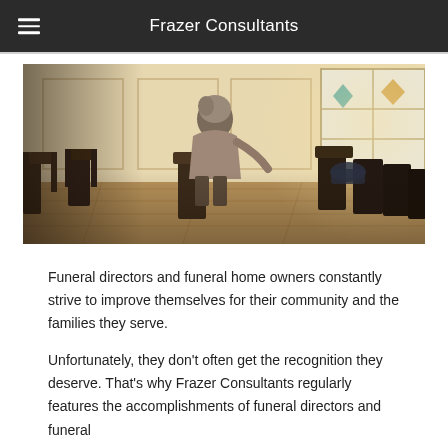Frazer Consultants
[Figure (photo): A person sitting alone in a chapel or funeral home waiting room, viewed from behind. Rows of dark wooden chairs are visible. Light streams through a stained glass window on the right side showing colored diamond shapes. The room has white paneled walls and wooden flooring.]
Funeral directors and funeral home owners constantly strive to improve themselves for their community and the families they serve.
Unfortunately, they don't often get the recognition they deserve. That's why Frazer Consultants regularly features the accomplishments of funeral directors and funeral